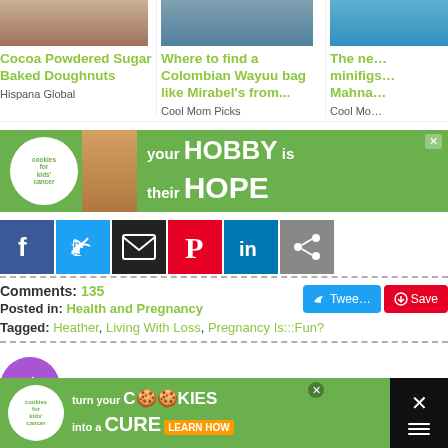Cocoa Powdered Sugar Baked Doughnuts
Hispana Global
Where to find a Colombian Wayuu bag like Mirabel's from...
Cool Mom Picks
The ne… minifigs… Mahna…
Cool Mo…
[Figure (screenshot): Green advertisement banner: cookies for kids' cancer - your HOBBY is their HOPE]
[Figure (screenshot): Social share buttons: Facebook, Twitter, Email, Pinterest, LinkedIn, Share]
Comments: 135
Posted in: Health and Pregnancy
Tagged: Heather, Living With Loss, Pregnancy Is:::Fun?
Nothing
[Figure (screenshot): Bottom ad banner: cookies for kids' cancer - turn your COOKIES into a CURE LEARN HOW]